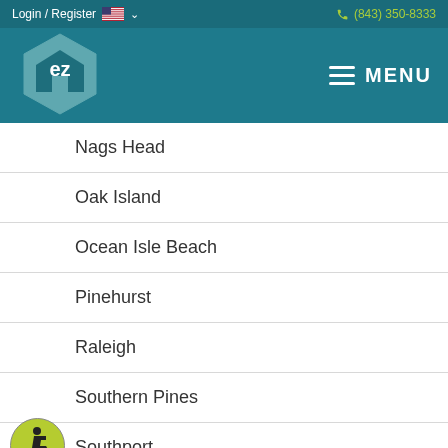Login / Register  (843) 350-8333
[Figure (logo): EZ home logo — hexagon shape with 'ez' text inside, teal color]
Nags Head
Oak Island
Ocean Isle Beach
Pinehurst
Raleigh
Southern Pines
Southport
Sunset Beach
[Figure (illustration): Wheelchair accessibility icon — circular yellow-green badge with wheelchair symbol]